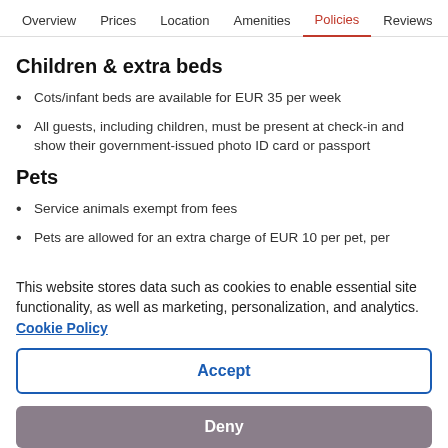Overview  Prices  Location  Amenities  Policies  Reviews
Children & extra beds
Cots/infant beds are available for EUR 35 per week
All guests, including children, must be present at check-in and show their government-issued photo ID card or passport
Pets
Service animals exempt from fees
Pets are allowed for an extra charge of EUR 10 per pet, per
This website stores data such as cookies to enable essential site functionality, as well as marketing, personalization, and analytics. Cookie Policy
Accept
Deny